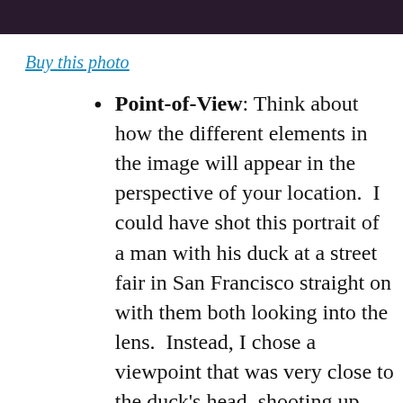[Figure (photo): Dark photograph strip at the top of the page, showing a dimly lit outdoor scene]
Buy this photo
Point-of-View: Think about how the different elements in the image will appear in the perspective of your location.  I could have shot this portrait of a man with his duck at a street fair in San Francisco straight on with them both looking into the lens.  Instead, I chose a viewpoint that was very close to the duck's head, shooting up from its perspective and relegating the human to the background and